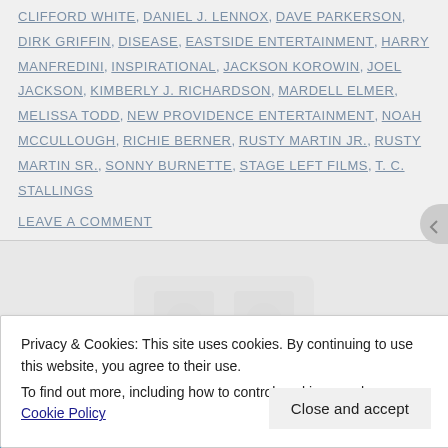CLIFFORD WHITE, DANIEL J. LENNOX, DAVE PARKERSON, DIRK GRIFFIN, DISEASE, EASTSIDE ENTERTAINMENT, HARRY MANFREDINI, INSPIRATIONAL, JACKSON KOROWIN, JOEL JACKSON, KIMBERLY J. RICHARDSON, MARDELL ELMER, MELISSA TODD, NEW PROVIDENCE ENTERTAINMENT, NOAH MCCULLOUGH, RICHIE BERNER, RUSTY MARTIN JR., RUSTY MARTIN SR., SONNY BURNETTE, STAGE LEFT FILMS, T. C. STALLINGS
LEAVE A COMMENT
[Figure (other): Faded background watermark/logo area in gray]
Privacy & Cookies: This site uses cookies. By continuing to use this website, you agree to their use. To find out more, including how to control cookies, see here: Cookie Policy